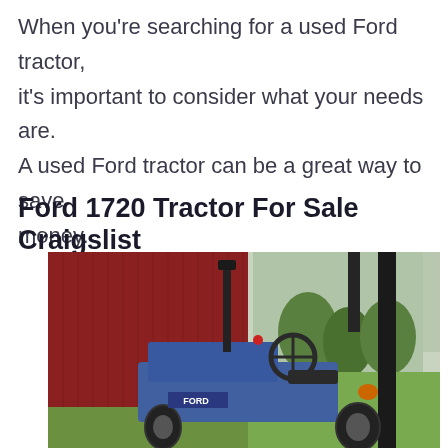When you're searching for a used Ford tractor, it's important to consider what your needs are. A used Ford tractor can be a great way to save money.
Ford 1720 Tractor For Sale Craigslist
[Figure (photo): A blue Ford 1720 tractor parked near a red corrugated metal barn/shed. The tractor has a black exhaust stack, a steering wheel, and orange side marker light. Green trees and grass visible in the background through an opening.]